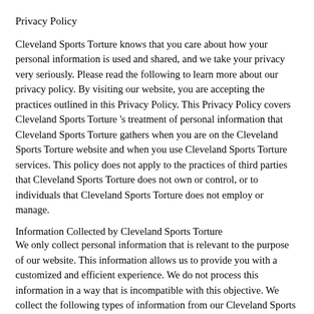Privacy Policy
Cleveland Sports Torture knows that you care about how your personal information is used and shared, and we take your privacy very seriously. Please read the following to learn more about our privacy policy. By visiting our website, you are accepting the practices outlined in this Privacy Policy. This Privacy Policy covers Cleveland Sports Torture 's treatment of personal information that Cleveland Sports Torture gathers when you are on the Cleveland Sports Torture website and when you use Cleveland Sports Torture services. This policy does not apply to the practices of third parties that Cleveland Sports Torture does not own or control, or to individuals that Cleveland Sports Torture does not employ or manage.
Information Collected by Cleveland Sports Torture
We only collect personal information that is relevant to the purpose of our website. This information allows us to provide you with a customized and efficient experience. We do not process this information in a way that is incompatible with this objective. We collect the following types of information from our Cleveland Sports Torture users:
1. Information You Provide to Us: We receive and store any information you enter on our website or provide to us in any other way. You can choose not to provide us with certain information, but then you may not be able to take advantage of many of our special features.
2. Automatic Information: